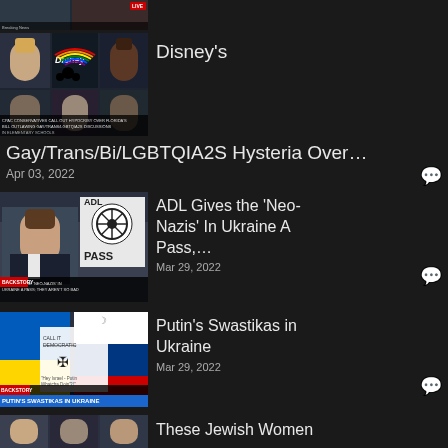[Figure (screenshot): Partial thumbnail of a video at the top of the page]
[Figure (screenshot): Thumbnail showing Disney logo with rainbow colors, news panel with multiple guests]
Disney's
Gay/Trans/Bi/LGBTQIA2S Hysteria Over…
Apr 03, 2022
[Figure (screenshot): Thumbnail showing ADL Gives the Neo-Nazis In Ukraine A Pass video with man speaking and ADL PASS graphic]
ADL Gives the 'Neo-Nazis' In Ukraine A Pass,…
Mar 29, 2022
[Figure (screenshot): Thumbnail showing Ukraine and Russia flags with swastika cartoon, text PUTIN'S SWASTIKAS IN UKRAINE]
Putin's Swastikas in Ukraine
Mar 29, 2022
[Figure (screenshot): Partial thumbnail of a video about These Jewish Women]
These Jewish Women